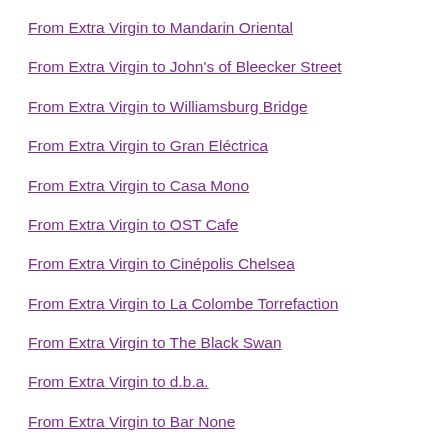From Extra Virgin to Mandarin Oriental
From Extra Virgin to John's of Bleecker Street
From Extra Virgin to Williamsburg Bridge
From Extra Virgin to Gran Eléctrica
From Extra Virgin to Casa Mono
From Extra Virgin to OST Cafe
From Extra Virgin to Cinépolis Chelsea
From Extra Virgin to La Colombe Torrefaction
From Extra Virgin to The Black Swan
From Extra Virgin to d.b.a.
From Extra Virgin to Bar None